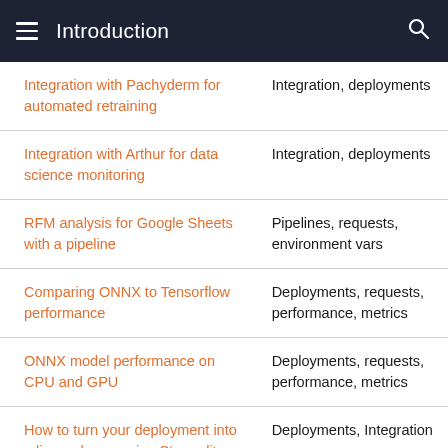Introduction
| Integration with Pachyderm for automated retraining | Integration, deployments |
| Integration with Arthur for data science monitoring | Integration, deployments |
| RFM analysis for Google Sheets with a pipeline | Pipelines, requests, environment vars |
| Comparing ONNX to Tensorflow performance | Deployments, requests, performance, metrics |
| ONNX model performance on CPU and GPU | Deployments, requests, performance, metrics |
| How to turn your deployment into a live web app using Streamlit | Deployments, Integration |